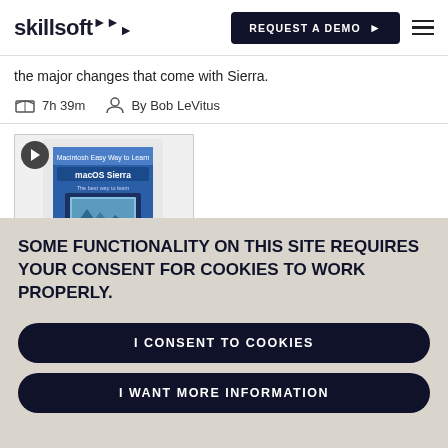skillsoft | REQUEST A DEMO
the major changes that come with Sierra.
7h 39m   By Bob LeVitus
[Figure (photo): Book cover thumbnail for macOS Sierra with a play button icon overlay]
SOME FUNCTIONALITY ON THIS SITE REQUIRES YOUR CONSENT FOR COOKIES TO WORK PROPERLY.
I CONSENT TO COOKIES
I WANT MORE INFORMATION